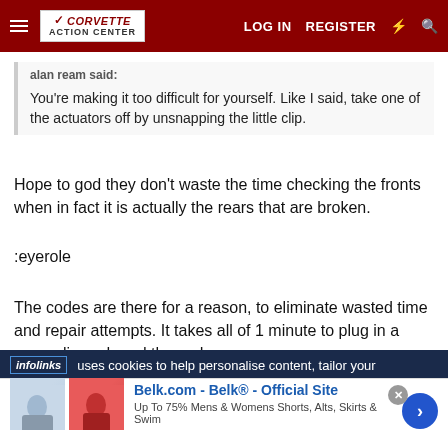Corvette Action Center — LOG IN  REGISTER
alan ream said:
You're making it too difficult for yourself. Like I said, take one of the actuators off by unsnapping the little clip.
Hope to god they don't waste the time checking the fronts when in fact it is actually the rears that are broken.
:eyerole
The codes are there for a reason, to eliminate wasted time and repair attempts. It takes all of 1 minute to plug in a paperclip and read the codes.
infolinks uses cookies to help personalise content, tailor your
[Figure (screenshot): Advertisement for Belk.com showing women's skirts and shorts. Text: Belk.com - Belk® - Official Site, Up To 75% Mens & Womens Shorts, Alts, Skirts & Swim, www.belk.com]